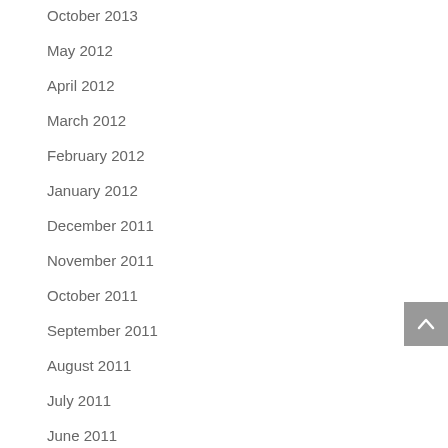October 2013
May 2012
April 2012
March 2012
February 2012
January 2012
December 2011
November 2011
October 2011
September 2011
August 2011
July 2011
June 2011
May 2011
April 2011